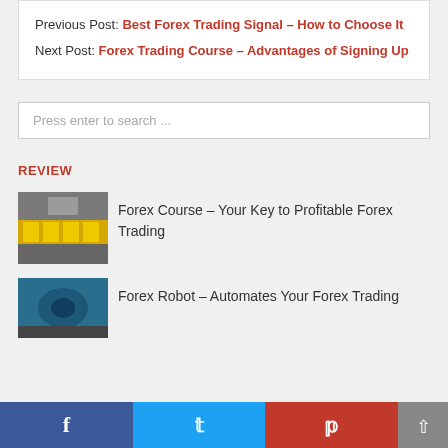Previous Post: Best Forex Trading Signal – How to Choose It
Next Post: Forex Trading Course – Advantages of Signing Up
Press enter to search ...
REVIEW
Forex Course – Your Key to Profitable Forex Trading
[Figure (photo): Photo of a forex trading classroom with yellow monitors]
Forex Robot – Automates Your Forex Trading
[Figure (photo): Photo related to forex robot trading]